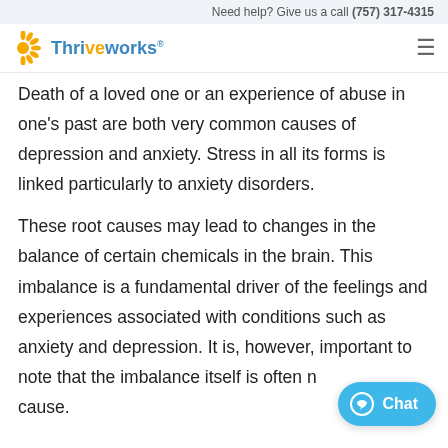Need help? Give us a call (757) 317-4315
[Figure (logo): Thriveworks logo with sun icon and blue/yellow text]
Death of a loved one or an experience of abuse in one's past are both very common causes of depression and anxiety. Stress in all its forms is linked particularly to anxiety disorders.
These root causes may lead to changes in the balance of certain chemicals in the brain. This imbalance is a fundamental driver of the feelings and experiences associated with conditions such as anxiety and depression. It is, however, important to note that the imbalance itself is often not the root cause.